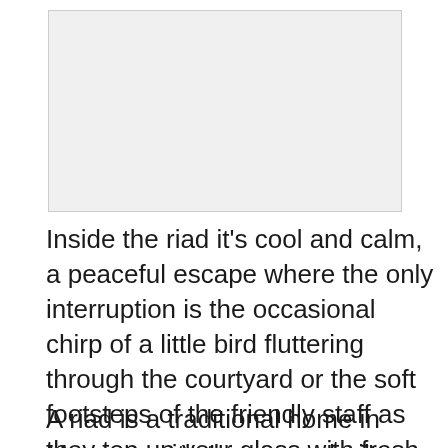[Figure (photo): Photo placeholder showing interior of a riad]
Inside the riad it's cool and calm, a peaceful escape where the only interruption is the occasional chirp of a little bird fluttering through the courtyard or the soft footsteps of the friendly staff as they top up your glass with fresh mint tea.
A riad is a traditional home in Morocco with the rooms built around a central